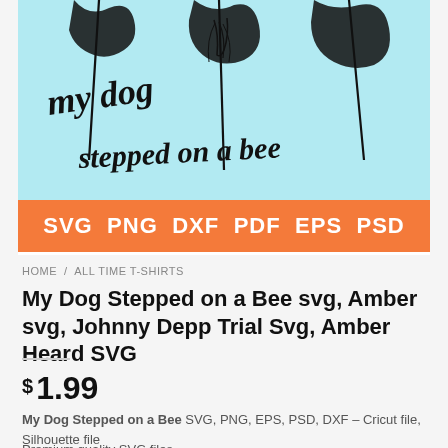[Figure (illustration): Product preview image showing a light blue background with hand-lettered text 'my dog stepped on a bee' in cursive black script, with partial illustration of figures. Below the image is an orange banner with white text listing file formats: SVG PNG DXF PDF EPS PSD]
HOME / ALL TIME T-SHIRTS
My Dog Stepped on a Bee svg, Amber svg, Johnny Depp Trial Svg, Amber Heard SVG
$ 1.99
My Dog Stepped on a Bee SVG, PNG, EPS, PSD, DXF – Cricut file, Silhouette file
Premium quality SVG files